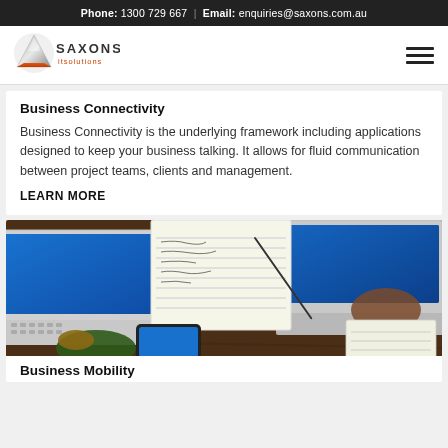Phone: 1300 729 667  |  Email: enquiries@saxons.com.au
[Figure (logo): Saxons IT Solutions logo - triangular silver/orange shape with SAXONS text and 'itsolutions' below]
Business Connectivity
Business Connectivity is the underlying framework including applications designed to keep your business talking. It allows for fluid communication between project teams, clients and management.
LEARN MORE
[Figure (photo): Overhead view of a desk with two laptops showing blue screens, notebooks with handwritten notes, a smartphone, and two people working collaboratively]
Business Mobility